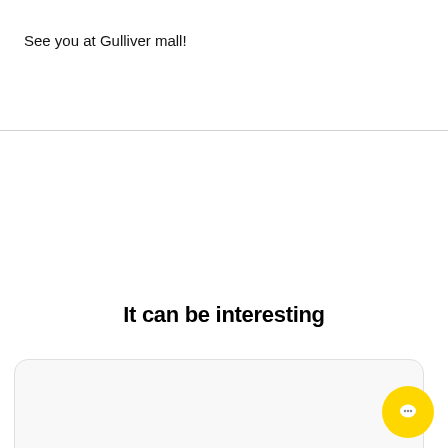See you at Gulliver mall!
It can be interesting
[Figure (other): A rounded card/panel with light gray background, empty content area, and a yellow circular chat button in the bottom right corner.]